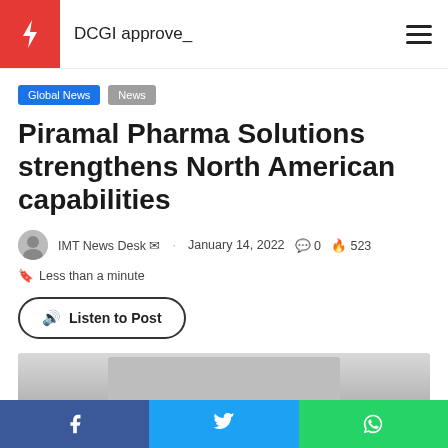DCGI approve_
Global News
News
Piramal Pharma Solutions strengthens North American capabilities
IMT News Desk · January 14, 2022  0  523
Less than a minute
🔊 Listen to Post
[Figure (photo): Partial view of a pharmaceutical or laboratory facility]
Share on Facebook | Share on Twitter | Share on WhatsApp